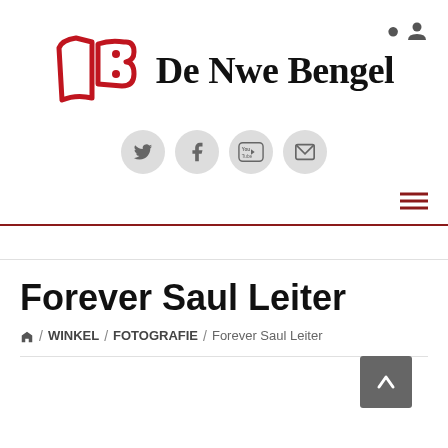[Figure (logo): De Nwe Bengel logo: red stylized book and letter B with dots, followed by bold text 'De Nwe Bengel']
[Figure (infographic): Social media icons in grey circles: Twitter, Facebook, YouTube, Email]
Forever Saul Leiter
🏠 / WINKEL / FOTOGRAFIE / Forever Saul Leiter